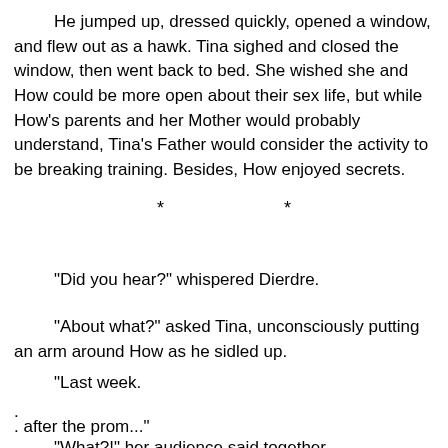He jumped up, dressed quickly, opened a window, and flew out as a hawk. Tina sighed and closed the window, then went back to bed. She wished she and How could be more open about their sex life, but while How's parents and her Mother would probably understand, Tina's Father would consider the activity to be breaking training. Besides, How enjoyed secrets.
* *
"Did you hear?" whispered Dierdre.
"About what?" asked Tina, unconsciously putting an arm around How as he sidled up.
"Last week.
.
. after the prom..."
"What?!" her audience said together.